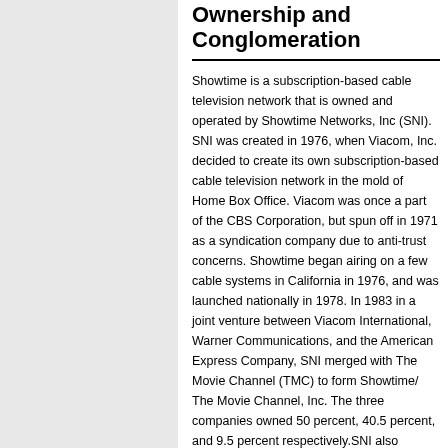Ownership and Conglomeration
Showtime is a subscription-based cable television network that is owned and operated by Showtime Networks, Inc (SNI). SNI was created in 1976, when Viacom, Inc. decided to create its own subscription-based cable television network in the mold of Home Box Office. Viacom was once a part of the CBS Corporation, but spun off in 1971 as a syndication company due to anti-trust concerns. Showtime began airing on a few cable systems in California in 1976, and was launched nationally in 1978. In 1983 in a joint venture between Viacom International, Warner Communications, and the American Express Company, SNI merged with The Movie Channel (TMC) to form Showtime/ The Movie Channel, Inc. The three companies owned 50 percent, 40.5 percent, and 9.5 percent respectively.SNI also purchased a small